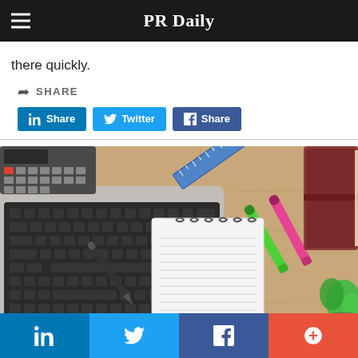PR Daily
there quickly.
SHARE
[Figure (screenshot): Social share buttons: LinkedIn Share, Twitter, Facebook Share]
[Figure (photo): Overhead view of a desk with a laptop keyboard, spiral notepad, pen, ruler, green and pink markers, calculator, and a brown leather journal on a wooden surface with a small green plant in the corner.]
LinkedIn | Twitter | Facebook | More (+)